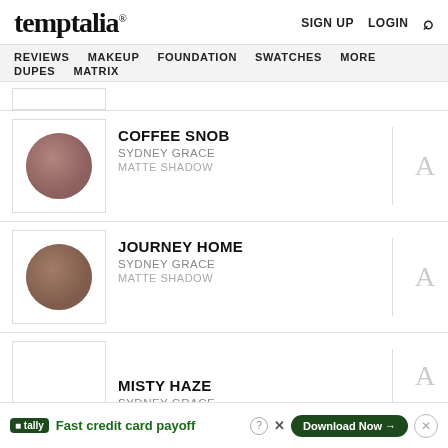temptalia® SIGN UP LOGIN 🔍
REVIEWS MAKEUP FOUNDATION SWATCHES MORE DUPES MATRIX
COFFEE SNOB – SYDNEY GRACE – MATTE SHADOW
JOURNEY HOME – SYDNEY GRACE – MATTE SHADOW
MISTY HAZE – SYDNEY GRACE
tally – Fast credit card payoff – Download Now →